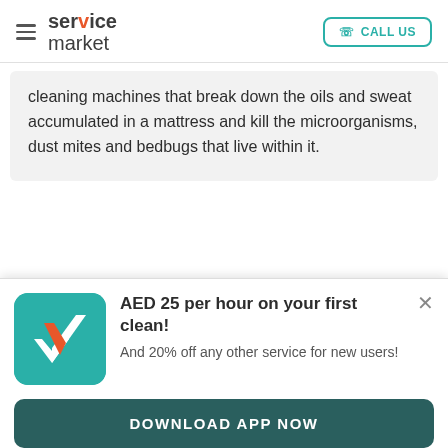service market  CALL US
cleaning machines that break down the oils and sweat accumulated in a mattress and kill the microorganisms, dust mites and bedbugs that live within it.
[Figure (logo): ServiceMarket app icon: teal background with white and orange V/checkmark logo]
AED 25 per hour on your first clean! And 20% off any other service for new users!
DOWNLOAD APP NOW